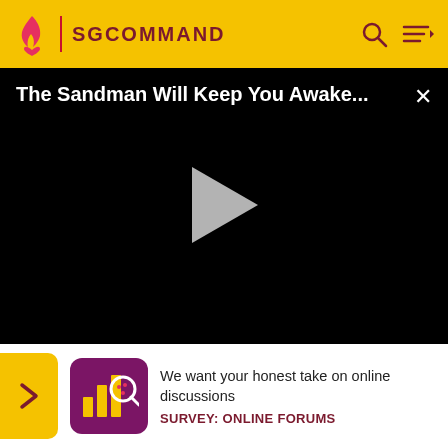SGCOMMAND
[Figure (screenshot): Video player with black background showing title 'The Sandman Will Keep You Awake...' with a white play button triangle in the center, and an X close button top-right]
[Figure (photo): Close-up screenshot of a man's face from a video, wearing a suit]
We want your honest take on online discussions
SURVEY: ONLINE FORUMS